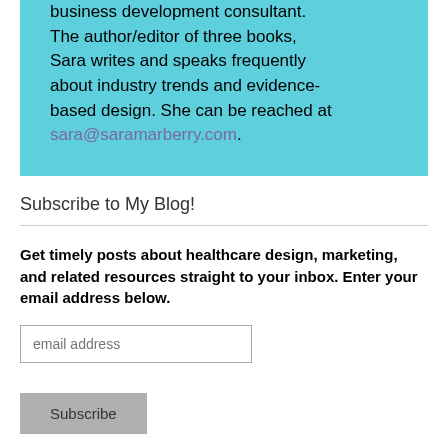business development consultant. The author/editor of three books, Sara writes and speaks frequently about industry trends and evidence-based design. She can be reached at sara@saramarberry.com.
Subscribe to My Blog!
Get timely posts about healthcare design, marketing, and related resources straight to your inbox. Enter your email address below.
[Figure (other): Email input field with placeholder text 'email address' and a Subscribe button below it]